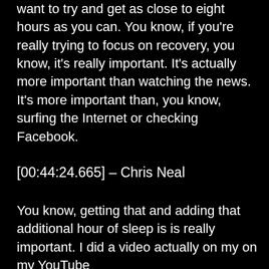want to try and get as close to eight hours as you can. You know, if you're really trying to focus on recovery, you know, it's really important. It's actually more important than watching the news. It's more important than, you know, surfing the Internet or checking Facebook.
[00:44:24.665] – Chris Neal
You know, getting that and adding that additional hour of sleep is is really important. I did a video actually on my on my YouTube